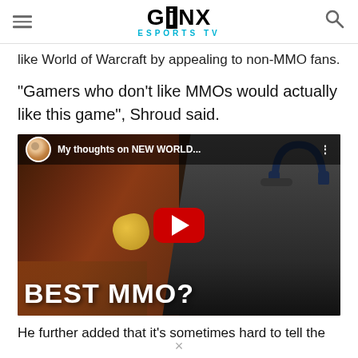GINX ESPORTS TV
like World of Warcraft by appealing to non-MMO fans.
“Gamers who don’t like MMOs would actually like this game”, Shroud said.
[Figure (screenshot): YouTube video thumbnail showing a man with headphones and mustache, with text overlay reading 'My thoughts on NEW WORLD...' at top, large white bold text 'BEST MMO?' at bottom, and a red YouTube play button in the center. A circular avatar is visible in the top left of the video bar.]
He further added that it’s sometimes hard to tell the